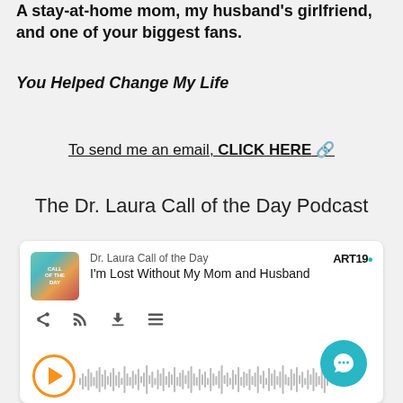A stay-at-home mom, my husband's girlfriend, and one of your biggest fans.
You Helped Change My Life
To send me an email, CLICK HERE 🔗
The Dr. Laura Call of the Day Podcast
[Figure (screenshot): Podcast player card for 'Dr. Laura Call of the Day' episode titled 'I'm Lost Without My Mom and Husband', showing ART19 branding, podcast artwork, playback icons, and waveform visualization.]